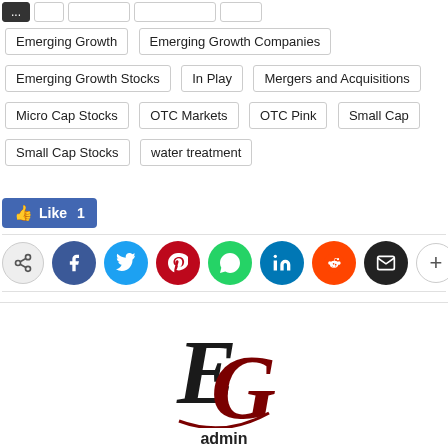Emerging Growth | Emerging Growth Companies
Emerging Growth Stocks | In Play | Mergers and Acquisitions
Micro Cap Stocks | OTC Markets | OTC Pink | Small Cap
Small Cap Stocks | water treatment
[Figure (other): Facebook Like button showing Like 1]
[Figure (other): Social share buttons row: share, Facebook, Twitter, Pinterest, WhatsApp, LinkedIn, Reddit, Email, More]
[Figure (logo): EG logo - stylized letters E and G in dark red/maroon]
admin